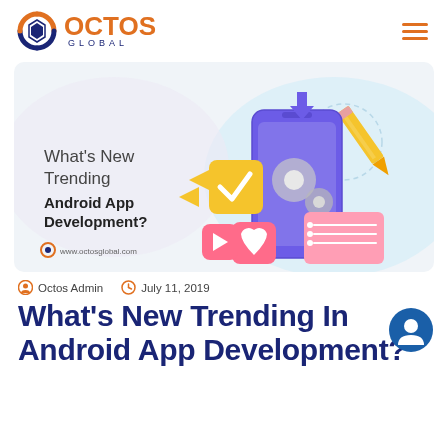OCTOS GLOBAL
[Figure (illustration): Banner illustration for blog post about Android App Development trends. Left side shows text: What's New Trending Android App Development? with www.octosglobal.com. Right side shows a smartphone with gears, checkmark, heart icon, pencil, and list card — all in purple, yellow, and pink colors on a light blue background.]
Octos Admin   July 11, 2019
What's New Trending In Android App Development?